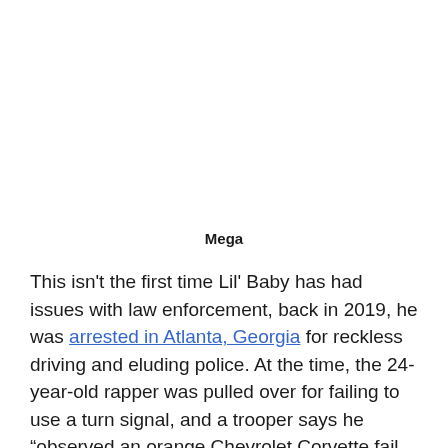Mega
This isn't the first time Lil' Baby has had issues with law enforcement, back in 2019, he was arrested in Atlanta, Georgia for reckless driving and eluding police. At the time, the 24-year-old rapper was pulled over for failing to use a turn signal, and a trooper says he “observed an orange Chevrolet Corvette fail to signal when changing lanes. It increased its speed and began passing